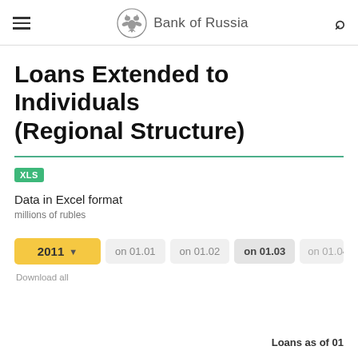Bank of Russia
Loans Extended to Individuals (Regional Structure)
XLS
Data in Excel format
millions of rubles
2011   on 01.01   on 01.02   on 01.03   on 01.04
Download all
Loans as of 01